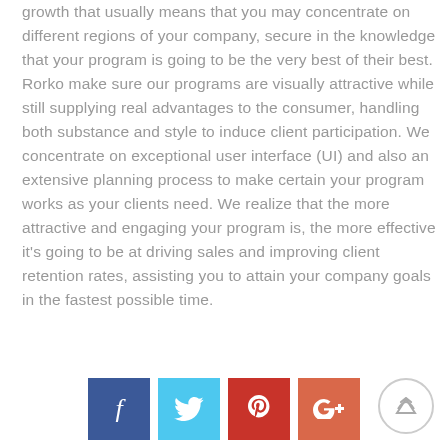growth that usually means that you may concentrate on different regions of your company, secure in the knowledge that your program is going to be the very best of their best. Rorko make sure our programs are visually attractive while still supplying real advantages to the consumer, handling both substance and style to induce client participation. We concentrate on exceptional user interface (UI) and also an extensive planning process to make certain your program works as your clients need. We realize that the more attractive and engaging your program is, the more effective it's going to be at driving sales and improving client retention rates, assisting you to attain your company goals in the fastest possible time.
[Figure (infographic): Social media share buttons: Facebook (blue), Twitter (light blue), Pinterest (red), Google Plus (orange-red), and a circular back-to-top arrow button on the right.]